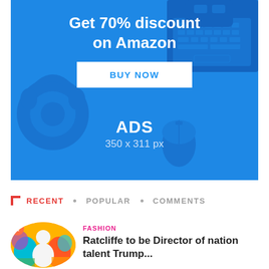[Figure (infographic): Amazon advertisement banner with blue background showing headphones, laptop keyboard, and mouse. Text: 'Get 70% discount on Amazon' with a 'BUY NOW' button, and 'ADS 350 x 311 px' label at bottom.]
RECENT · POPULAR · COMMENTS
[Figure (photo): Circular thumbnail image showing a person in a colorful artistic background, with orange badge showing number 1.]
FASHION
Ratcliffe to be Director of nation talent Trump...